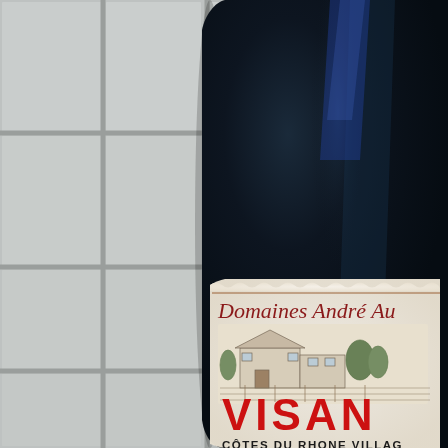[Figure (photo): A dark wine bottle (Domaines André Aubert, VISAN, Côtes du Rhone Villages, 2018) shot close-up against a grey ceramic tile wall background. The label is cream/off-white with red script text reading 'Domaines André Au...' at the top, a black ink illustration of a French estate/winery building in the center, large bold red text 'VISAN' below the illustration, then 'CÔTES DU RHONE VILLAGES' in dark serif capitals, 'APPELLATION CÔTES DU RHÔNE VILLAGES CONTROLÉE' in smaller text, and '2018' at the bottom. The bottle neck and body occupy the right ~60% of the frame, and the grey grouted tile wall fills the background.]